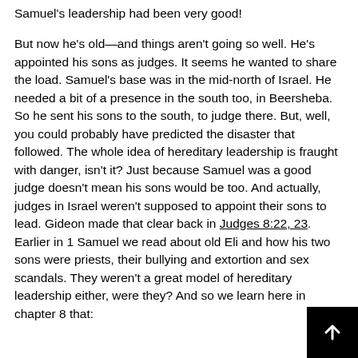Samuel's leadership had been very good!

But now he's old—and things aren't going so well. He's appointed his sons as judges. It seems he wanted to share the load. Samuel's base was in the mid-north of Israel. He needed a bit of a presence in the south too, in Beersheba. So he sent his sons to the south, to judge there. But, well, you could probably have predicted the disaster that followed. The whole idea of hereditary leadership is fraught with danger, isn't it? Just because Samuel was a good judge doesn't mean his sons would be too. And actually, judges in Israel weren't supposed to appoint their sons to lead. Gideon made that clear back in Judges 8:22, 23. Earlier in 1 Samuel we read about old Eli and how his two sons were priests, their bullying and extortion and sex scandals. They weren't a great model of hereditary leadership either, were they? And so we learn here in chapter 8 that: